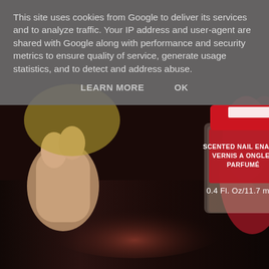[Figure (photo): Close-up photo of a red nail enamel bottle (Scented Nail Enamel / Vernis A Ongles Parfumé, 0.4 fl. oz / 11.7 mL) being held by fingers, with a dark reddish-brown wooden surface in the background and red flower petals on the right side.]
This site uses cookies from Google to deliver its services and to analyze traffic. Your IP address and user-agent are shared with Google along with performance and security metrics to ensure quality of service, generate usage statistics, and to detect and address abuse.
LEARN MORE    OK